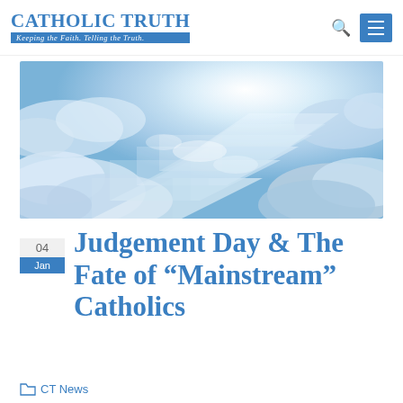Catholic Truth — Keeping the Faith. Telling the Truth.
[Figure (photo): Wide banner photo of a stairway rising through bright white and blue clouds toward a glowing light in the sky, suggesting a heavenly staircase.]
Judgement Day & The Fate of “Mainstream” Catholics
04 Jan
CT News